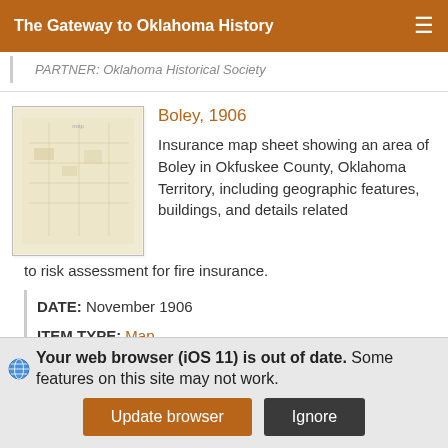The Gateway to Oklahoma History
PARTNER: Oklahoma Historical Society
Boley, 1906
[Figure (photo): Thumbnail image of an aged insurance map sheet, cream/yellowish background with faint markings]
Insurance map sheet showing an area of Boley in Okfuskee County, Oklahoma Territory, including geographic features, buildings, and details related to risk assessment for fire insurance.
DATE: November 1906
ITEM TYPE: Map
Your web browser (iOS 11) is out of date. Some features on this site may not work.